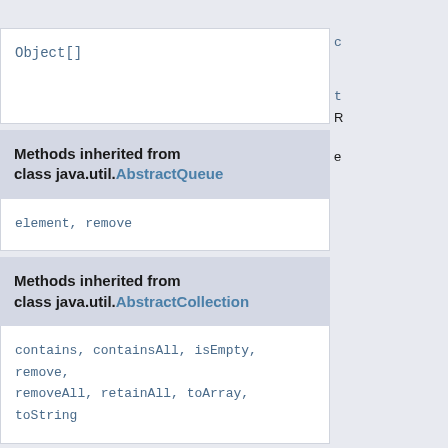Object[]
Methods inherited from class java.util.AbstractQueue
element, remove
Methods inherited from class java.util.AbstractCollection
contains, containsAll, isEmpty, remove, removeAll, retainAll, toArray, toString
Methods inherited from class java.lang.Object
clone, equals, finalize, getClass, hashCode, notify, notifyAll, wait, wait,